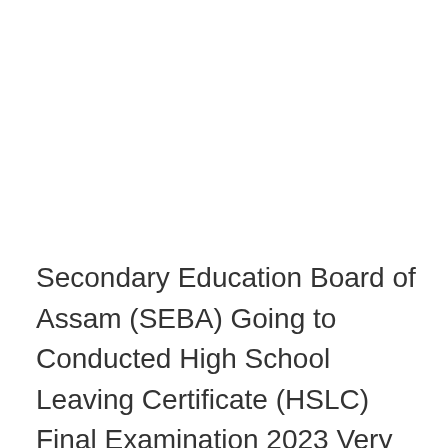Secondary Education Board of Assam (SEBA) Going to Conducted High School Leaving Certificate (HSLC) Final Examination 2023 Very Soon, Assam State Students who were Successfully Enrolled form for HSLC Examination 2023...